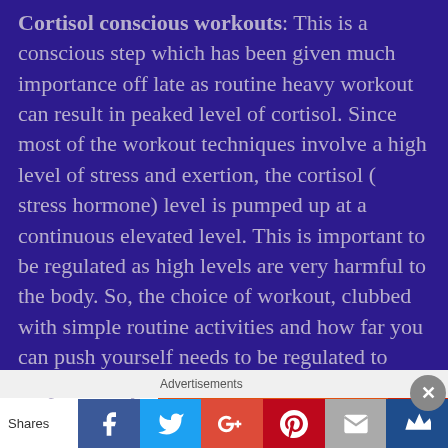Cortisol conscious workouts: This is a conscious step which has been given much importance off late as routine heavy workout can result in peaked level of cortisol. Since most of the workout techniques involve a high level of stress and exertion, the cortisol ( stress hormone) level is pumped up at a continuous elevated level. This is important to be regulated as high levels are very harmful to the body. So, the choice of workout, clubbed with simple routine activities and how far you can push yourself needs to be regulated to keep the body cortisol in balance. (details in one of my previous post https://healthhappinesshealing.org/2019/08/07/post-cortisol-vigilant-workout-3-important-
Advertisements
Shares